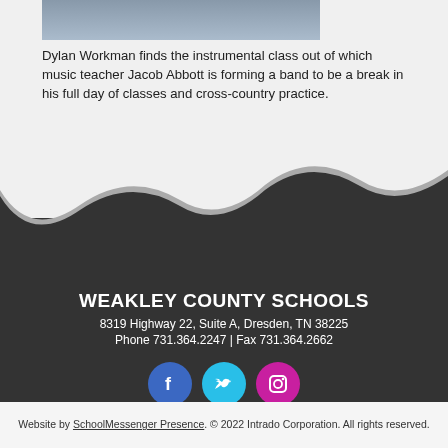[Figure (photo): Partial photo of Dylan Workman, cropped at top of page]
Dylan Workman finds the instrumental class out of which music teacher Jacob Abbott is forming a band to be a break in his full day of classes and cross-country practice.
[Figure (infographic): Dark footer section with wave decoration, school name, address, phone/fax, and social media icons (Facebook, Twitter, Instagram)]
WEAKLEY COUNTY SCHOOLS
8319 Highway 22, Suite A, Dresden, TN 38225
Phone 731.364.2247 | Fax 731.364.2662
Website by SchoolMessenger Presence. © 2022 Intrado Corporation. All rights reserved.